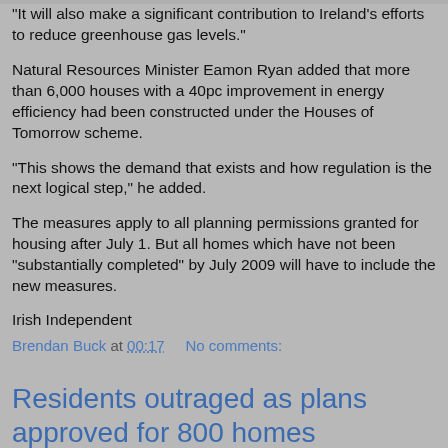"It will also make a significant contribution to Ireland's efforts to reduce greenhouse gas levels."
Natural Resources Minister Eamon Ryan added that more than 6,000 houses with a 40pc improvement in energy efficiency had been constructed under the Houses of Tomorrow scheme.
"This shows the demand that exists and how regulation is the next logical step," he added.
The measures apply to all planning permissions granted for housing after July 1. But all homes which have not been "substantially completed" by July 2009 will have to include the new measures.
Irish Independent
Brendan Buck at 00:17    No comments:
Residents outraged as plans approved for 800 homes